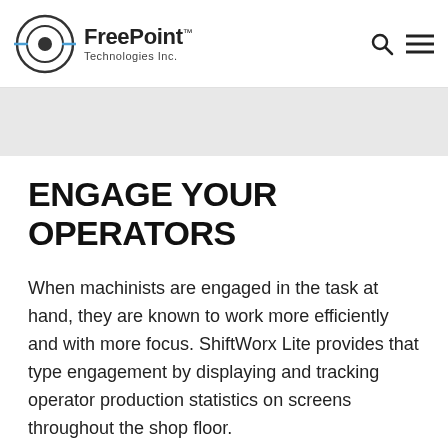[Figure (logo): FreePoint Technologies Inc. logo with circular target/crosshair icon and company name]
ENGAGE YOUR OPERATORS
When machinists are engaged in the task at hand, they are known to work more efficiently and with more focus. ShiftWorx Lite provides that type engagement by displaying and tracking operator production statistics on screens throughout the shop floor.